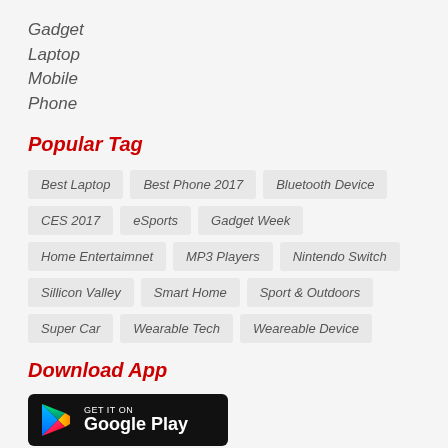Gadget
Laptop
Mobile
Phone
Popular Tag
Best Laptop | Best Phone 2017 | Bluetooth Device | CES 2017 | eSports | Gadget Week | Home Entertaimnet | MP3 Players | Nintendo Switch | Sillicon Valley | Smart Home | Sport & Outdoors | Super Car | Wearable Tech | Weareable Device
Download App
[Figure (logo): Google Play Store download badge — black rounded rectangle with Play triangle icon and text 'GET IT ON Google Play']